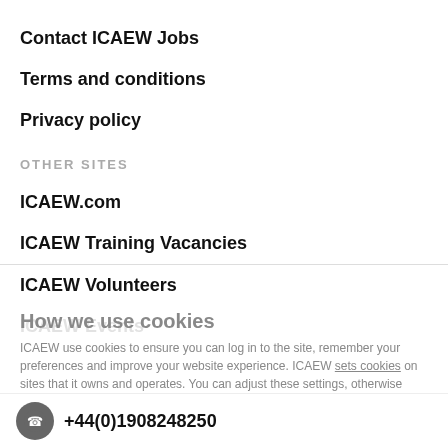Contact ICAEW Jobs
Terms and conditions
Privacy policy
OTHER SITES
ICAEW.com
ICAEW Training Vacancies
ICAEW Volunteers
ICAEW Events
How we use cookies
ICAEW use cookies to ensure you can log in to the site, remember your preferences and improve your website experience. ICAEW sets cookies on sites that it owns and operates. You can adjust these settings, otherwise we'll assume you're happy to continue.
OK
Settings
+44(0)1908248250